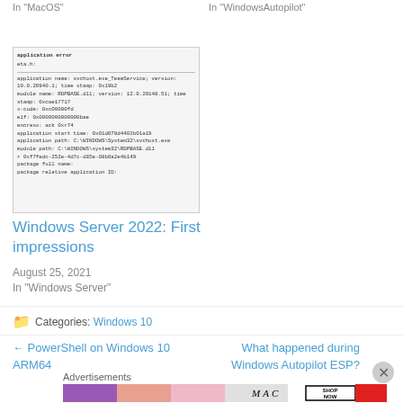In "MacOS"
[Figure (screenshot): Screenshot of a Windows application error dialog showing error details including application name, module name, error code, memory addresses, file paths, and package information.]
Windows Server 2022: First impressions
August 25, 2021
In "Windows Server"
Categories: Windows 10
← PowerShell on Windows 10 ARM64
What happened during Windows Autopilot ESP?
Advertisements
[Figure (photo): MAC Cosmetics advertisement banner showing lipsticks and a SHOP NOW call-to-action box.]